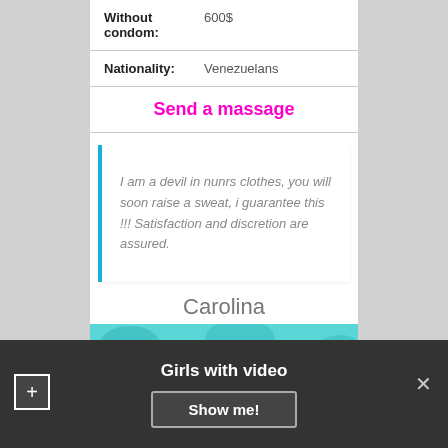| Field | Value |
| --- | --- |
| Without condom: | 600$ |
| Nationality: | Venezuelans |
Send a massage
I am a devil in nunrs clothes, you will soon raise a sweat, i guarantee this !!! Satisfaction and discretion are assured.
Carolina
[Figure (photo): Teal/turquoise patterned fabric or image background]
Girls with video
Show me!